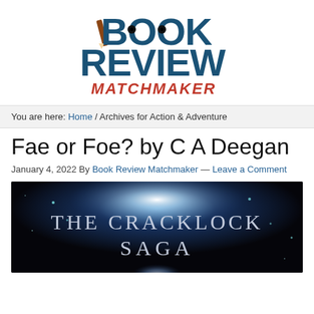[Figure (logo): Book Review Matchmaker logo: large bold teal/dark-blue text 'BOOK REVIEW' with red italic 'MATCHMAKER' below, decorated with a pencil and two bullet holes]
You are here: Home / Archives for Action & Adventure
Fae or Foe? by C A Deegan
January 4, 2022 By Book Review Matchmaker — Leave a Comment
[Figure (photo): Dark fantasy book cover image showing 'THE CRACKLOCK SAGA' text in silver/white against a dark cosmic background with glowing light and blue sparkles]